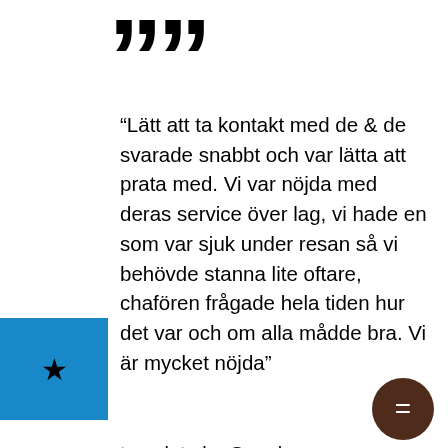[Figure (illustration): Large closing double quotation marks in bold black]
“Lätt att ta kontakt med de & de svarade snabbt och var lätta att prata med. Vi var nöjda med deras service över lag, vi hade en som var sjuk under resan så vi behövde stanna lite oftare, chafören frågade hela tiden hur det var och om alla mådde bra. Vi är mycket nöjda”
translate by Google:
“Easy to contact them & they responded quickly and were easy to talk to. We were pleased with their service overall, we had one who was during the trip so we needed to stop a bit more often, the chafoer constantly